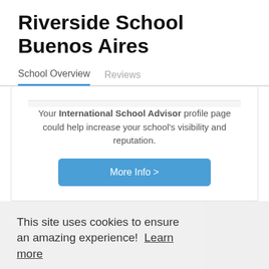Riverside School Buenos Aires
School Overview   Reviews
Your International School Advisor profile page could help increase your school's visibility and reputation.
More Info >
This site uses cookies to ensure an amazing experience!  Learn more
Got it!